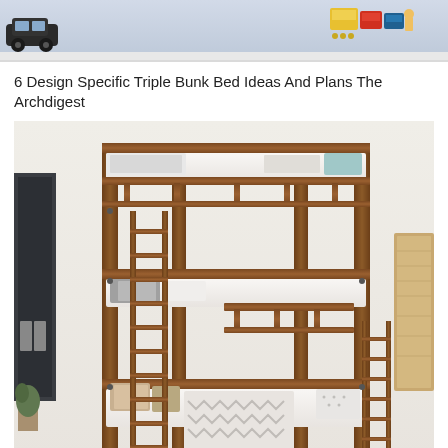[Figure (photo): Top strip showing toy cars and Lego sets on a shelf, partial view]
6 Design Specific Triple Bunk Bed Ideas And Plans The Archdigest
[Figure (photo): Photo of a triple bunk bed with dark walnut/brown wood frame in a children's room, three tiers with white bedding and patterned pillows, ladder on left side and right side, dark picture frame on left wall, wooden frame on right wall]